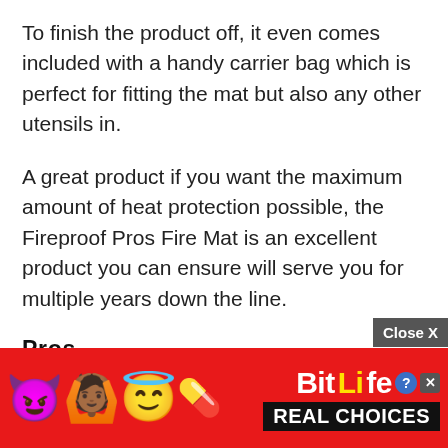To finish the product off, it even comes included with a handy carrier bag which is perfect for fitting the mat but also any other utensils in.
A great product if you want the maximum amount of heat protection possible, the Fireproof Pros Fire Mat is an excellent product you can ensure will serve you for multiple years down the line.
Pros
Very thick and heat resistant material
Scratch and peel-proof
[Figure (screenshot): Advertisement banner for BitLife mobile game at the bottom of the page, with red background, emoji characters (devil, person with raised arms, angel face, sperm), BitLife logo in white and yellow, question mark icon, close X icon, and 'REAL CHOICES' text on black background. A 'Close X' button appears above the banner on a grey background.]